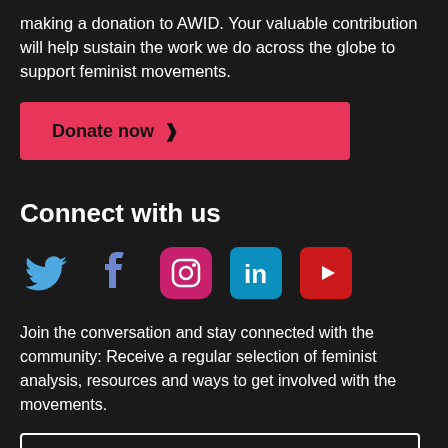making a donation to AWID. Your valuable contribution will help sustain the work we do across the globe to support feminist movements.
[Figure (other): Donate now button (pink/red button with chevron)]
Connect with us
[Figure (other): Social media icons: Twitter (blue bird), Facebook (blue f), Instagram (pink/magenta rounded square with camera icon), LinkedIn (teal square with 'in'), YouTube (red square with play triangle)]
Join the conversation and stay connected with the community: Receive a regular selection of feminist analysis, resources and ways to get involved with the movements.
[Figure (other): Join our mailing list button (outlined white button with chevron)]